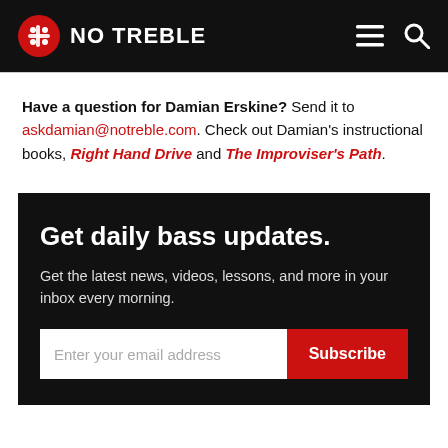NO TREBLE
Have a question for Damian Erskine? Send it to askdamian@notreble.com. Check out Damian's instructional books, Right Hand Drive and The Improviser's Path.
Get daily bass updates.
Get the latest news, videos, lessons, and more in your inbox every morning.